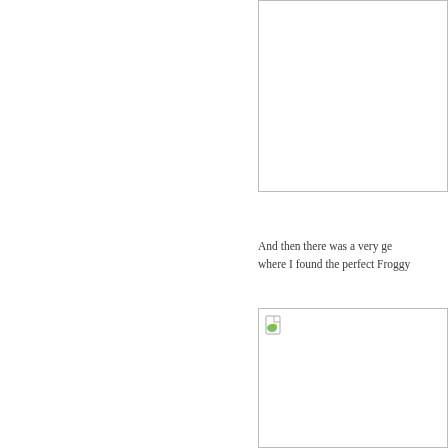[Figure (photo): Placeholder image box (top), appears clipped at right edge, white background with border]
And then there was a very ge where I found the perfect Froggy
[Figure (photo): Placeholder image box (bottom) with broken image icon in top-left corner, white background with border]